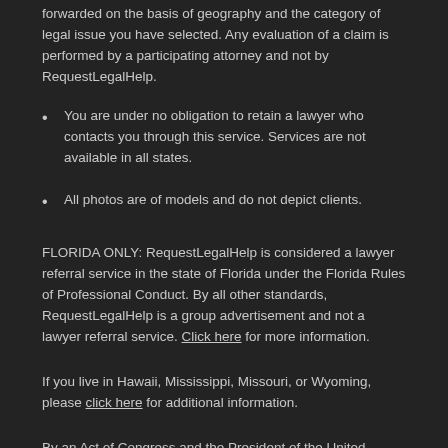forwarded on the basis of geography and the category of legal issue you have selected. Any evaluation of a claim is performed by a participating attorney and not by RequestLegalHelp.
You are under no obligation to retain a lawyer who contacts you through this service. Services are not available in all states.
All photos are of models and do not depict clients.
FLORIDA ONLY: RequestLegalHelp is considered a lawyer referral service in the state of Florida under the Florida Rules of Professional Conduct. By all other standards, RequestLegalHelp is a group advertisement and not a lawyer referral service. Click here for more information.
If you live in Hawaii, Mississippi, Missouri, or Wyoming, please click here for additional information.
By an Act of Congress and the President of the United States, we are a federal Debt Relief Agency. Attorneys and/or law firms promoted through this Web site are also federally designated Debt Relief Agencies. They help people file for relief under the